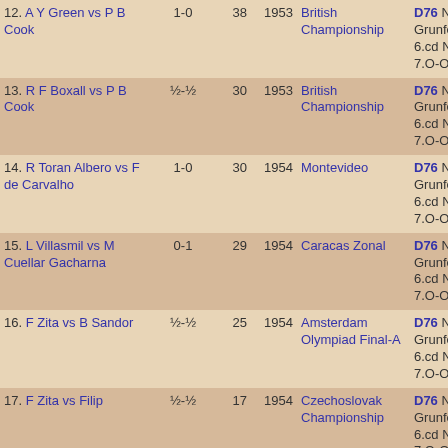| Players | Result | Moves | Year | Event | ECO |
| --- | --- | --- | --- | --- | --- |
| 12. A Y Green vs P B Cook | 1-0 | 38 | 1953 | British Championship | D76 Neo-Grunfeld, 6.cd Nxd5, 7.O-O Nb6 |
| 13. R F Boxall vs P B Cook | ½-½ | 30 | 1953 | British Championship | D76 Neo-Grunfeld, 6.cd Nxd5, 7.O-O Nb6 |
| 14. R Toran Albero vs F de Carvalho | 1-0 | 30 | 1954 | Montevideo | D76 Neo-Grunfeld, 6.cd Nxd5, 7.O-O Nb6 |
| 15. L Villasmil vs M Cuellar Gacharna | 0-1 | 29 | 1954 | Caracas Zonal | D76 Neo-Grunfeld, 6.cd Nxd5, 7.O-O Nb6 |
| 16. F Zita vs B Sandor | ½-½ | 25 | 1954 | Amsterdam Olympiad Final-A | D76 Neo-Grunfeld, 6.cd Nxd5, 7.O-O Nb6 |
| 17. F Zita vs Filip | ½-½ | 17 | 1954 | Czechoslovak Championship | D76 Neo-Grunfeld, 6.cd Nxd5, 7.O-O Nb6 |
| 18. Larsen vs F Roessel | 1-0 | 23 | 1956 | Copenhagen | D76 Neo-Grunfeld, 6.cd Nxd5, 7.O-O Nb6 |
| 19. T Salo vs Letelier | ½-½ | 57 | 1956 | Moscow Olympiad qual-3 | D76 Neo-Grunfeld, 6.cd Nxd5, 7.O-O Nb6 |
| 20. G Peli vs K Honfi | ½-½ | 18 | 1958 | Munich Olympiad Final-B | D76 Neo-Grunfeld, 6.cd Nxd5, 7.O-O Nb6 |